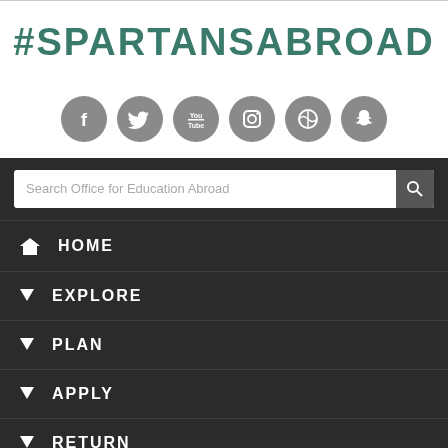#SPARTANSABROAD
[Figure (other): Six gray circular social media icons: Facebook, Twitter, YouTube, Instagram, WordPress, Snapchat]
Search Office for Education Abroad
HOME
EXPLORE
PLAN
APPLY
RETURN